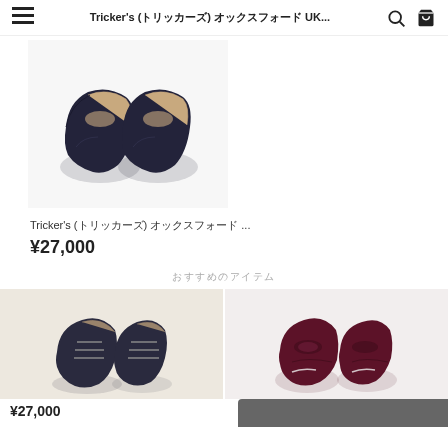Tricker's (トリッカーズ) オックスフォード UK...
[Figure (photo): Top-down view of a pair of dark navy/black leather flat shoes on a white background]
Tricker's (トリッカーズ) オックスフォード ...
¥27,000
おすすめのアイテム
[Figure (photo): Dark leather oxford lace-up shoes on a cream/light background, viewed from front-top]
[Figure (photo): Dark maroon/burgundy loafer-style shoes on a light background, viewed from top]
¥27,000